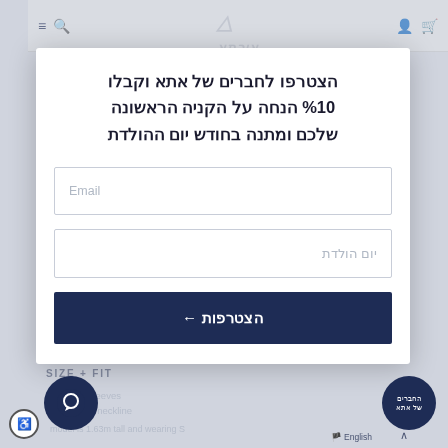[Figure (screenshot): Israeli e-commerce website product page (URTMA brand) showing a modal popup for joining a members club. The modal contains Hebrew text offering 10% discount on first purchase and birthday gift, with Email and Birthday date input fields and a join/register button. Background shows product detail page with DETAILS and SIZE+FIT sections partially visible.]
הצטרפו לחברים של אתא וקבלו 10% הנחה על הקניה הראשונה שלכם ומתנה בחודש יום ההולדת
Email
יום הולדת
הצטרפות ←